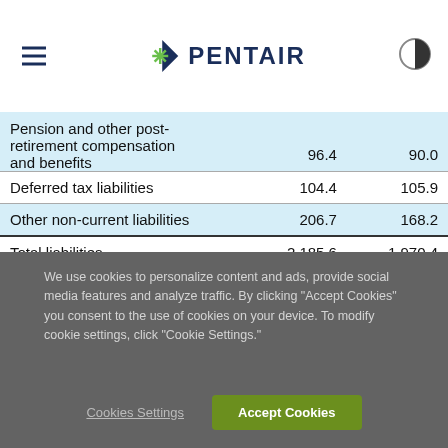Pentair
|  |  |  |
| --- | --- | --- |
| Pension and other post-retirement compensation and benefits | 96.4 | 90.0 |
| Deferred tax liabilities | 104.4 | 105.9 |
| Other non-current liabilities | 206.7 | 168.2 |
| Total liabilities | 2,185.6 | 1,970.4 |
| Equity | 1,953.9 | 1,836.1 |
| Total liabilities and equity | $ 4,139.5 | $ 3,806.5 |
We use cookies to personalize content and ads, provide social media features and analyze traffic. By clicking "Accept Cookies" you consent to the use of cookies on your device. To modify cookie settings, click "Cookie Settings."
Cookies Settings | Accept Cookies